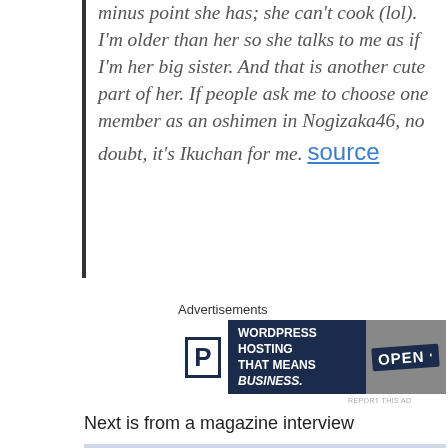minus point she has; she can't cook (lol). I'm older than her so she talks to me as if I'm her big sister. And that is another cute part of her. If people ask me to choose one member as an oshimen in Nogizaka46, no doubt, it's Ikuchan for me. source
Advertisements
[Figure (screenshot): Advertisement banner for WordPress Hosting with text 'WORDPRESS HOSTING THAT MEANS BUSINESS.' alongside an OPEN sign photo]
Next is from a magazine interview
[Figure (photo): Magazine interview image with Japanese text, showing お辞儀が長い (Long bowing) group description and clouds illustration]